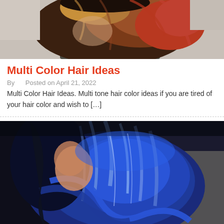[Figure (photo): Top portion of a photo showing a woman with multi-colored hair (brown, red, copper tones) blowing in the wind against a light background.]
Multi Color Hair Ideas
By   Posted on April 21, 2022
Multi Color Hair Ideas. Multi tone hair color ideas if you are tired of your hair color and wish to […]
[Figure (photo): A woman seen from behind/side showing long, vivid blue multi-toned hair with lighter blue highlights against a dark background.]